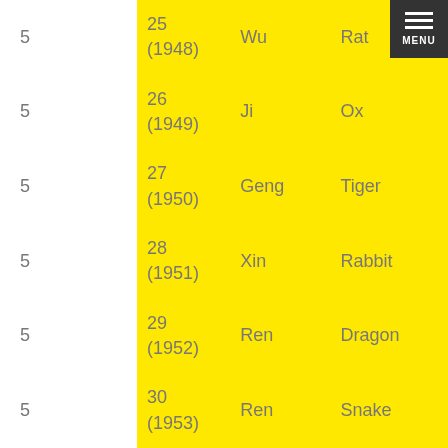|  | Number (Year) | Stem | Animal |
| --- | --- | --- | --- |
| 5 | 25
(1948) | Wu | Rat |
| 5 | 26
(1949) | Ji | Ox |
| 5 | 27
(1950) | Geng | Tiger |
| 5 | 28
(1951) | Xin | Rabbit |
| 5 | 29
(1952) | Ren | Dragon |
| 5 | 30
(1953) | Ren | Snake |